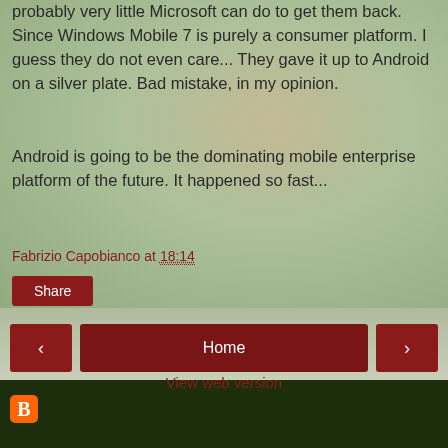probably very little Microsoft can do to get them back. Since Windows Mobile 7 is purely a consumer platform. I guess they do not even care... They gave it up to Android on a silver plate. Bad mistake, in my opinion.
Android is going to be the dominating mobile enterprise platform of the future. It happened so fast...
Fabrizio Capobianco at 18:14
Share
‹
Home
›
View web version
[Figure (logo): Blogger orange B icon]